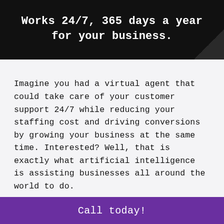Works 24/7, 365 days a year for your business.
Imagine you had a virtual agent that could take care of your customer support 24/7 while reducing your staffing cost and driving conversions by growing your business at the same time. Interested? Well, that is exactly what artificial intelligence is assisting businesses all around the world to do.
At Quantum we keep up with the advancing
Call today!